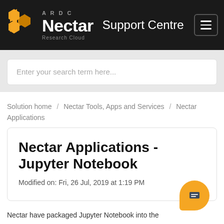ARDC Nectar Research Cloud  Support Centre
Enter your search term here...
Solution home / Nectar Tools, Apps and Services / Nectar Applications
Nectar Applications - Jupyter Notebook
Modified on: Fri, 26 Jul, 2019 at 1:19 PM
Nectar have packaged Jupyter Notebook into the